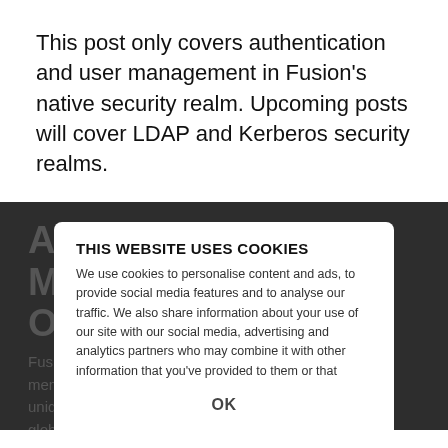This post only covers authentication and user management in Fusion's native security realm. Upcoming posts will cover LDAP and Kerberos security realms.
[Figure (screenshot): Dark-background article section showing heading 'Authentication: Members Only' and body text about usernames, realms, and global IDs, overlaid by a cookie consent dialog popup. The cookie popup has title 'THIS WEBSITE USES COOKIES', explanation text about cookies and analytics, and an OK button at the bottom.]